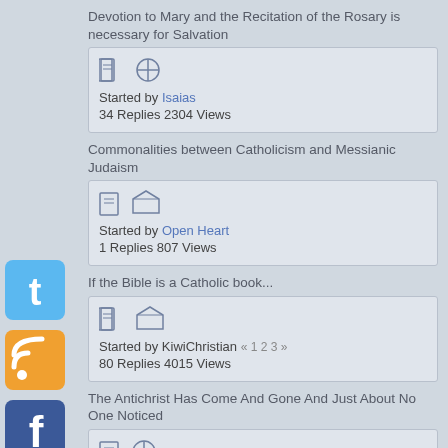Devotion to Mary and the Recitation of the Rosary is necessary for Salvation
Started by Isaias
34 Replies 2304 Views
Commonalities between Catholicism and Messianic Judaism
Started by Open Heart
1 Replies 807 Views
If the Bible is a Catholic book...
Started by KiwiChristian « 1 2 3 »
80 Replies 4015 Views
The Antichrist Has Come And Gone And Just About No One Noticed
Started by Isaias
8 Replies 1256 Views